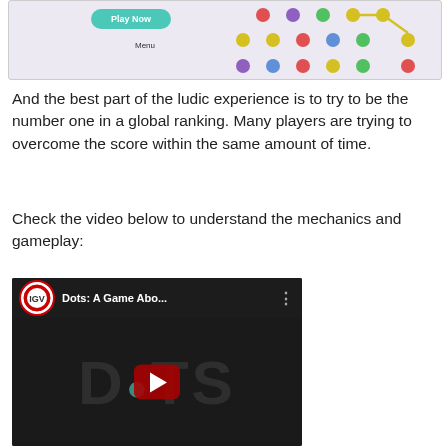[Figure (screenshot): Game screenshot showing a Play Now button and a grid of colored dots on a light purple background]
And the best part of the ludic experience is to try to be the number one in a global ranking. Many players are trying to overcome the score within the same amount of time.
Check the video below to understand the mechanics and gameplay:
[Figure (screenshot): YouTube video thumbnail for 'Dots: A Game Abo...' with channel icon, showing DOTS title text and YouTube play button overlay]